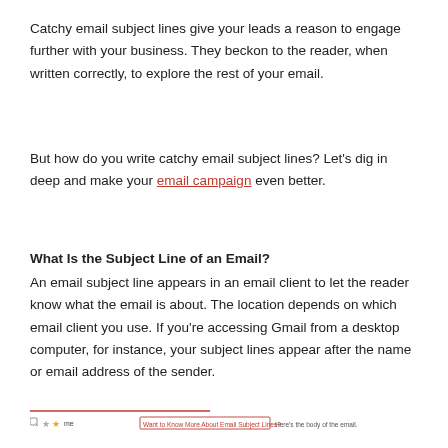Catchy email subject lines give your leads a reason to engage further with your business. They beckon to the reader, when written correctly, to explore the rest of your email.
But how do you write catchy email subject lines? Let's dig in deep and make your email campaign even better.
What Is the Subject Line of an Email?
An email subject line appears in an email client to let the reader know what the email is about. The location depends on which email client you use. If you're accessing Gmail from a desktop computer, for instance, your subject lines appear after the name or email address of the sender.
[Figure (screenshot): Screenshot of an email client interface showing icons, a star, and a highlighted subject line label 'Want to Know More About Email Subject Lines?' followed by body preview text 'Here's the body of the email.']